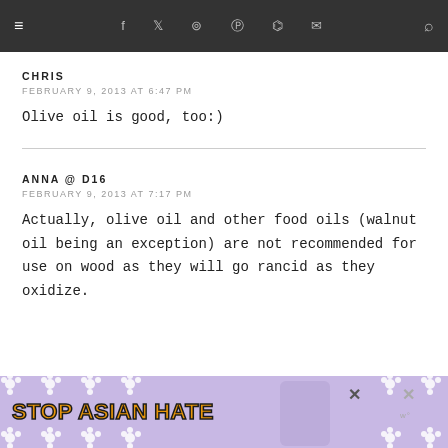≡ [navigation icons] [search]
CHRIS
FEBRUARY 9, 2013 AT 6:47 PM
Olive oil is good, too:)
ANNA @ D16
FEBRUARY 9, 2013 AT 7:17 PM
Actually, olive oil and other food oils (walnut oil being an exception) are not recommended for use on wood as they will go rancid as they oxidize.
[Figure (illustration): Stop Asian Hate advertisement banner with purple/lavender background, white flower decorations, orange bold text reading STOP ASIAN HATE, and an anime-style character illustration]